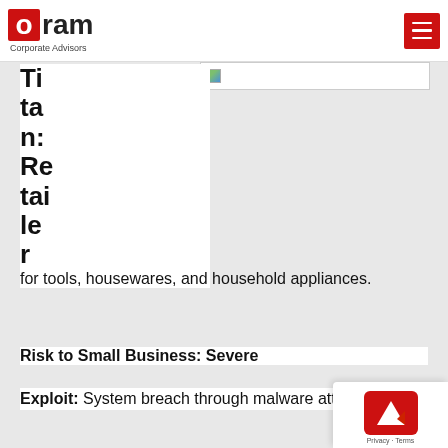Oram Corporate Advisors
[Figure (logo): Oram Corporate Advisors logo with red O circle and hamburger menu icon]
Titan: Retailer for tools, housewares, and household appliances.
Risk to Small Business: Severe
Exploit: System breach through malware attack.